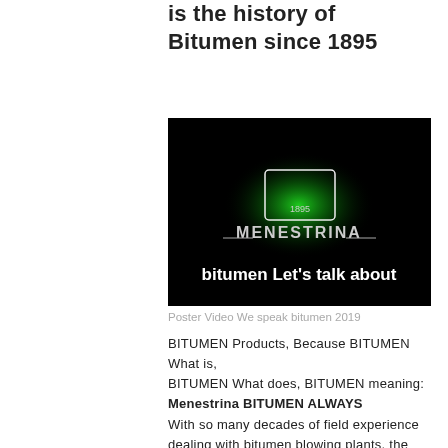is the history of Bitumen since 1895
[Figure (screenshot): Video thumbnail showing the Menestrina logo (1895) with green glow on a black background, with text 'bitumen Let's talk about']
Poster Video We speak bitumen 2019
BITUMEN Products, Because BITUMEN What is, BITUMEN What does, BITUMEN meaning:
Menestrina BITUMEN ALWAYS
With so many decades of field experience dealing with bitumen blowing plants, the Company takes advantage of the lessons learnt in the everyday's